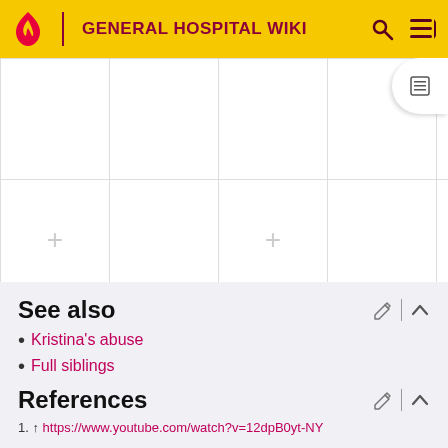GENERAL HOSPITAL WIKI
|  |  |  |  |  |  |  |
|  |  |  |  |  | Kendra Bauer |  |
See also
Kristina's abuse
Full siblings
References
1. ↑ https://www.youtube.com/watch?v=12dpB0yt-NY